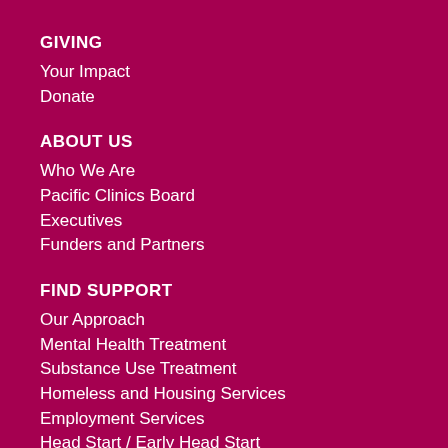GIVING
Your Impact
Donate
ABOUT US
Who We Are
Pacific Clinics Board
Executives
Funders and Partners
FIND SUPPORT
Our Approach
Mental Health Treatment
Substance Use Treatment
Homeless and Housing Services
Employment Services
Head Start / Early Head Start
Locations
Client Portal